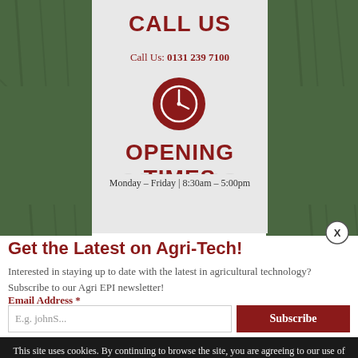CALL US
Call Us: 0131 239 7100
[Figure (illustration): Red circle with a clock/time icon in white]
OPENING TIMES
Monday – Friday | 8:30am – 5:00pm
[Figure (illustration): X close button circle]
Get the Latest on Agri-Tech!
Interested in staying up to date with the latest in agricultural technology? Subscribe to our Agri EPI newsletter!
Email Address *
E.g. johnS...
Subscribe
This site uses cookies. By continuing to browse the site, you are agreeing to our use of cookies.
OK
Learn more